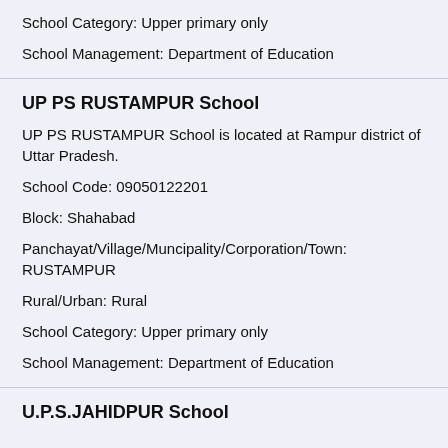School Category: Upper primary only
School Management: Department of Education
UP PS RUSTAMPUR School
UP PS RUSTAMPUR School is located at Rampur district of Uttar Pradesh.
School Code: 09050122201
Block: Shahabad
Panchayat/Village/Muncipality/Corporation/Town: RUSTAMPUR
Rural/Urban: Rural
School Category: Upper primary only
School Management: Department of Education
U.P.S.JAHIDPUR School